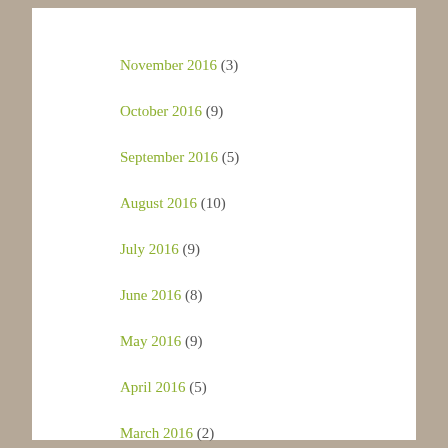November 2016 (3)
October 2016 (9)
September 2016 (5)
August 2016 (10)
July 2016 (9)
June 2016 (8)
May 2016 (9)
April 2016 (5)
March 2016 (2)
February 2016 (1)
January 2016 (2)